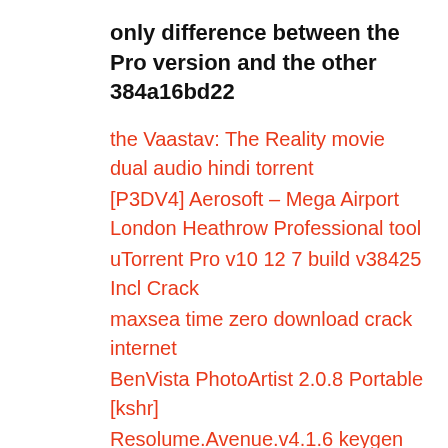only difference between the Pro version and the other 384a16bd22
the Vaastav: The Reality movie dual audio hindi torrent
[P3DV4] Aerosoft – Mega Airport London Heathrow Professional tool
uTorrent Pro v10 12 7 build v38425 Incl Crack
maxsea time zero download crack internet
BenVista PhotoArtist 2.0.8 Portable [kshr]
Resolume.Avenue.v4.1.6 keygen
sigershaders v ray material presets pro 2.5.16 for 3ds max torrent
Operating Systems: Internals And Design